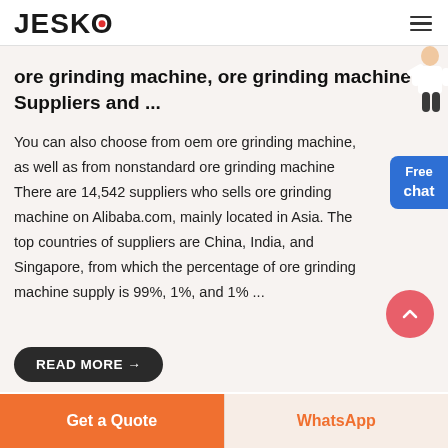JESCO
ore grinding machine, ore grinding machine Suppliers and ...
You can also choose from oem ore grinding machine, as well as from nonstandard ore grinding machine There are 14,542 suppliers who sells ore grinding machine on Alibaba.com, mainly located in Asia. The top countries of suppliers are China, India, and Singapore, from which the percentage of ore grinding machine supply is 99%, 1%, and 1% ...
READ MORE →
Get a Quote
WhatsApp